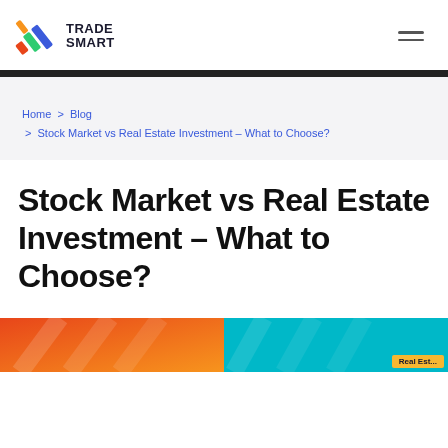TRADE SMART
Home > Blog > Stock Market vs Real Estate Investment – What to Choose?
Stock Market vs Real Estate Investment – What to Choose?
[Figure (illustration): Colorful split banner image with orange/red gradient on the left half and teal/cyan on the right half, with a yellow badge partially visible at bottom right]